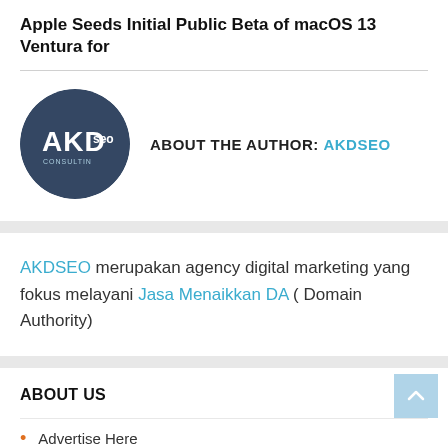Apple Seeds Initial Public Beta of macOS 13 Ventura for
[Figure (logo): AKDseo circular logo with dark blue/grey background and white AKD seo text]
ABOUT THE AUTHOR: AKDSEO
AKDSEO merupakan agency digital marketing yang fokus melayani Jasa Menaikkan DA ( Domain Authority)
ABOUT US
Advertise Here
Privacy Policy